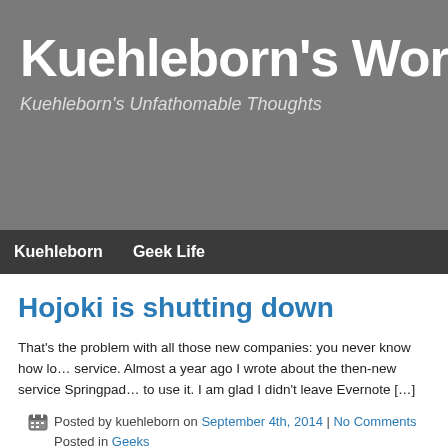Kuehleborn's World
Kuehleborn's Unfathomable Thoughts
Hojoki is shutting down
That's the problem with all those new companies: you never know how lo… service. Almost a year ago I wrote about the then-new service Springpad… to use it. I am glad I didn't leave Evernote […]
Posted by kuehleborn on September 4th, 2014 | No Comments
Posted in Geeks
Springpad: Re-imagining the…